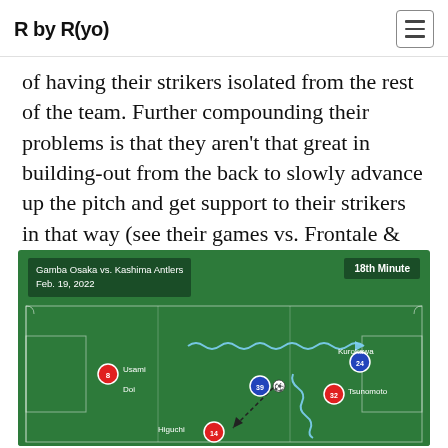R by R(yo)
of having their strikers isolated from the rest of the team. Further compounding their problems is that they aren't that great in building-out from the back to slowly advance up the pitch and get support to their strikers in that way (see their games vs. Frontale & Marinos).
[Figure (other): Soccer/football pitch diagram showing a match situation: Gamba Osaka vs. Kashima Antlers, Feb. 19, 2022, 18th Minute. Players shown: Usami (red #8), Kurokawa (blue #24), Doi (label), Tsunomoto (red #32), Higuchi (red #14), player #39 (blue) near ball. Wavy lines show player runs/passes across the pitch.]